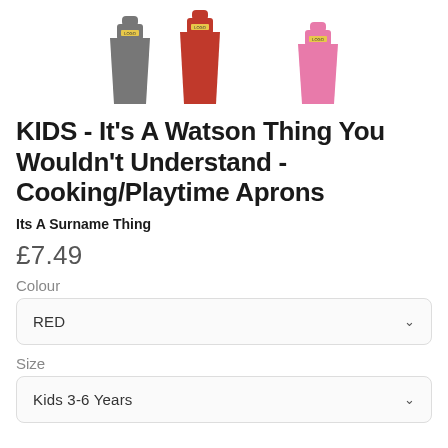[Figure (illustration): Three kids aprons side by side: grey/dark on the left, red in the center, pink on the right. Each has a neck strap and logo patch.]
KIDS - It's A Watson Thing You Wouldn't Understand - Cooking/Playtime Aprons
Its A Surname Thing
£7.49
Colour
RED
Size
Kids 3-6 Years